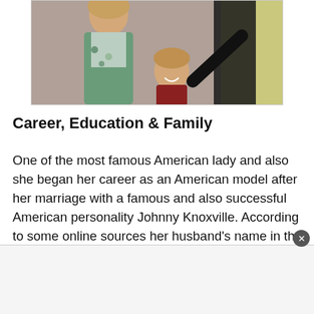[Figure (photo): A photo showing a woman and a young girl smiling, with another person partially visible, against a yellow/green banner background at what appears to be an event.]
Career, Education & Family
One of the most famous American lady and also she began her career as an American model after her marriage with a famous and also successful American personality Johnny Knoxville. According to some online sources her husband's name in the list of magazines most famous and top actors. Exposed some of the other sources so she i